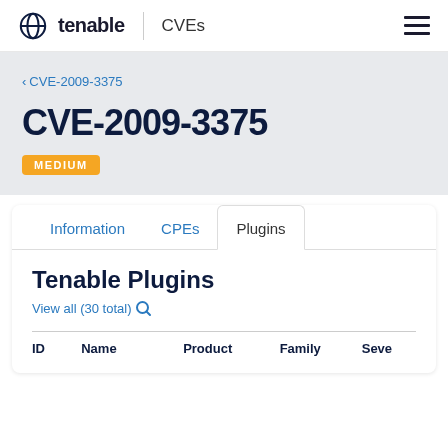tenable | CVEs
< CVE-2009-3375
CVE-2009-3375
MEDIUM
Information   CPEs   Plugins
Tenable Plugins
View all (30 total)
| ID | Name | Product | Family | Seve |
| --- | --- | --- | --- | --- |